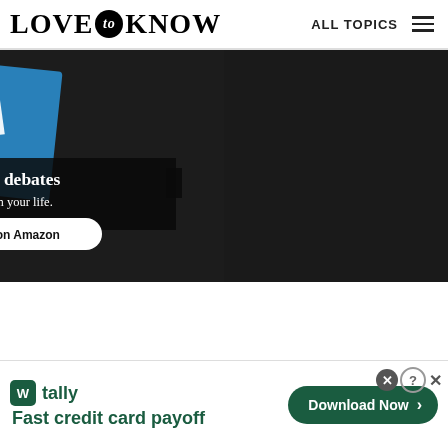LOVE to KNOW   ALL TOPICS
[Figure (photo): Book advertisement showing a red, white and blue political book titled 'What The Hell Are...' by Daniel Ravner, with dark background. Text overlay reads 'The 100 debates that govern your life.' with a white button 'Available on Amazon'.]
[Figure (photo): Tally app advertisement banner at bottom: green Tally logo with tagline 'Fast credit card payoff' and a green 'Download Now' button with arrow. Close button with X in top right corner.]